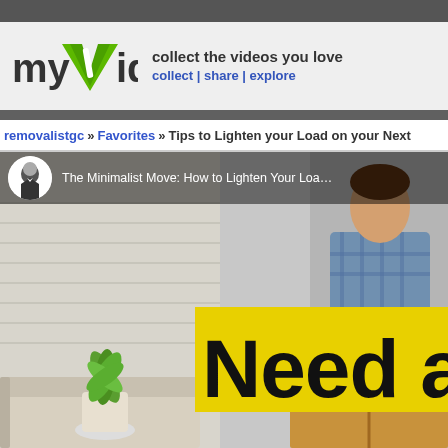myVidster — collect the videos you love | collect | share | explore
removalistgc » Favorites » Tips to Lighten your Load on your Next
[Figure (screenshot): Video thumbnail for 'The Minimalist Move: How to Lighten Your Load' showing a person with moving boxes and a green houseplant, with a yellow banner and bold text 'Need a' overlaid on the scene.]